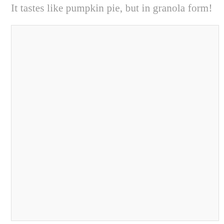It tastes like pumpkin pie, but in granola form!
[Figure (photo): A large light-colored rectangular image area, nearly blank/white with a very faint warm tint, occupying most of the page below the title text. Appears to be a photo placeholder or a very light food/granola photograph.]